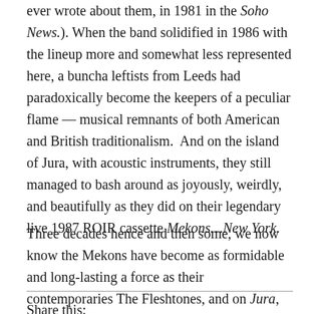ever wrote about them, in 1981 in the Soho News.). When the band solidified in 1986 with the lineup more and somewhat less represented here, a buncha leftists from Leeds had paradoxically become the keepers of a peculiar flame — musical remnants of both American and British traditionalism.  And on the island of Jura, with acoustic instruments, they still managed to bash around as joyously, weirdly, and beautifully as they did on their legendary live 1987 ROIR cassette Mekons…New York.
Three decades hence and then some, we now know the Mekons have become as formidable and long-lasting a force as their contemporaries The Fleshtones, and on Jura, they are purveyors of some of the most beautiful modern folks songs to be found on record this year.
Share this: